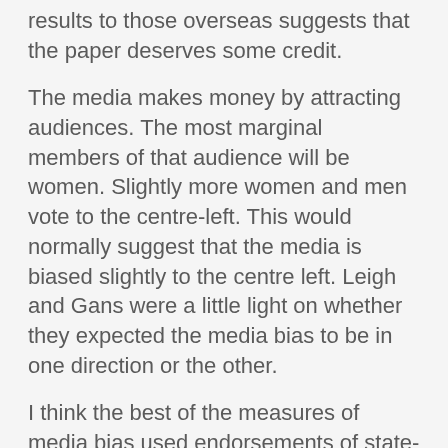results to those overseas suggests that the paper deserves some credit.
The media makes money by attracting audiences. The most marginal members of that audience will be women. Slightly more women and men vote to the centre-left. This would normally suggest that the media is biased slightly to the centre left. Leigh and Gans were a little light on whether they expected the media bias to be in one direction or the other.
I think the best of the measures of media bias used endorsements of state-level initiatives and referendums to find that newspapers are located almost exactly at the median voter in their home states. Newspapers appear to be more liberal than voters on social and cultural issues such as gay marriage, but more conservative on economic